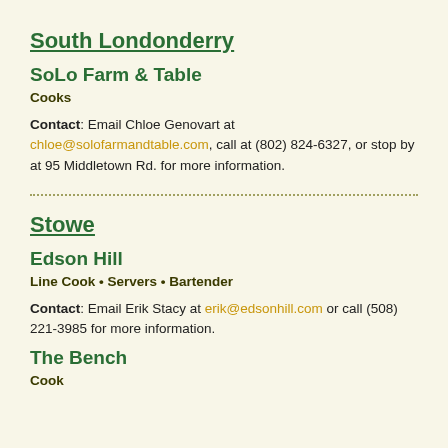South Londonderry
SoLo Farm & Table
Cooks
Contact: Email Chloe Genovart at chloe@solofarmandtable.com, call at (802) 824-6327, or stop by at 95 Middletown Rd. for more information.
Stowe
Edson Hill
Line Cook • Servers • Bartender
Contact: Email Erik Stacy at erik@edsonhill.com or call (508) 221-3985 for more information.
The Bench
Cook